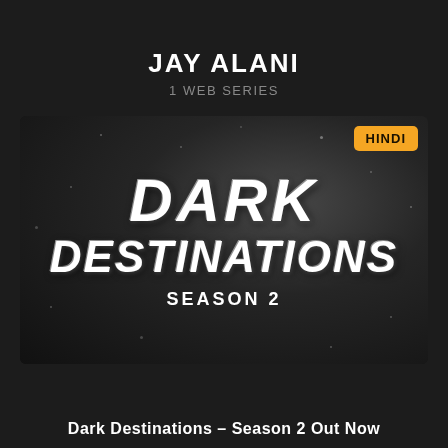JAY ALANI
1 WEB SERIES
[Figure (illustration): Dark Destinations Season 2 web series thumbnail. Dark moody background with scattered white dots/stars. Large bold italic white text reads 'DARK' on the first line and 'DESTINATIONS' on the second line, with 'SEASON 2' in smaller text below. A yellow badge in the top-right corner reads 'HINDI'.]
Dark Destinations – Season 2 Out Now